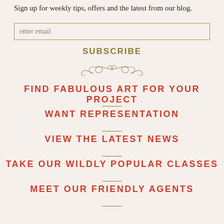Sign up for weekly tips, offers and the latest from our blog.
enter email
SUBSCRIBE
[Figure (illustration): Decorative ornamental scroll divider in muted taupe/brown color]
FIND FABULOUS ART FOR YOUR PROJECT
WANT REPRESENTATION
VIEW THE LATEST NEWS
TAKE OUR WILDLY POPULAR CLASSES
MEET OUR FRIENDLY AGENTS